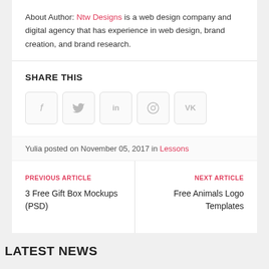About Author: Ntw Designs is a web design company and digital agency that has experience in web design, brand creation, and brand research.
SHARE THIS
[Figure (other): Social sharing buttons: Facebook (f), Twitter (bird), LinkedIn (in), Pinterest (circle pin), VK (VK)]
Yulia posted on November 05, 2017 in Lessons
PREVIOUS ARTICLE
3 Free Gift Box Mockups (PSD)
NEXT ARTICLE
Free Animals Logo Templates
LATEST NEWS